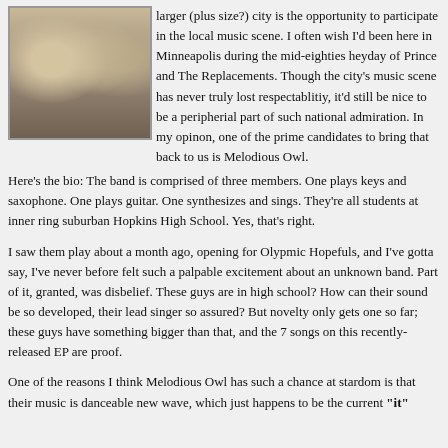[Figure (photo): Photo of three young male band members standing together, wearing casual/semi-formal attire including ties, against a light background.]
larger (plus size?) city is the opportunity to participate in the local music scene. I often wish I'd been here in Minneapolis during the mid-eighties heyday of Prince and The Replacements. Though the city's music scene has never truly lost respectablitiy, it'd still be nice to be a peripherial part of such national admiration. In my opinon, one of the prime candidates to bring that back to us is Melodious Owl.
Here's the bio: The band is comprised of three members. One plays keys and saxophone. One plays guitar. One synthesizes and sings. They're all students at inner ring suburban Hopkins High School. Yes, that's right.
I saw them play about a month ago, opening for Olypmic Hopefuls, and I've gotta say, I've never before felt such a palpable excitement about an unknown band. Part of it, granted, was disbelief. These guys are in high school? How can their sound be so developed, their lead singer so assured? But novelty only gets one so far; these guys have something bigger than that, and the 7 songs on this recently-released EP are proof.
One of the reasons I think Melodious Owl has such a chance at stardom is that their music is danceable new wave, which just happens to be the current "it"